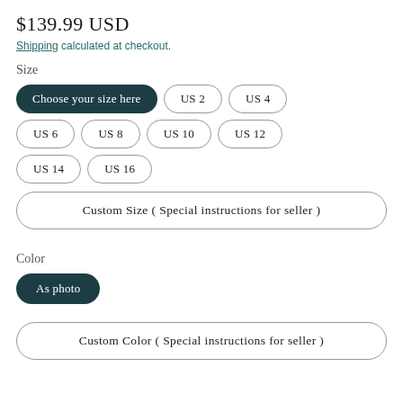$139.99 USD
Shipping calculated at checkout.
Size
Choose your size here
US 2
US 4
US 6
US 8
US 10
US 12
US 14
US 16
Custom Size ( Special instructions for seller )
Color
As photo
Custom Color ( Special instructions for seller )